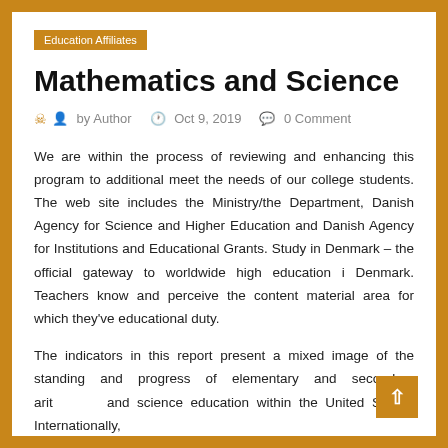Education Affiliates
Mathematics and Science
by Author   Oct 9, 2019   0 Comment
We are within the process of reviewing and enhancing this program to additional meet the needs of our college students. The web site includes the Ministry/the Department, Danish Agency for Science and Higher Education and Danish Agency for Institutions and Educational Grants. Study in Denmark – the official gateway to worldwide high education i Denmark. Teachers know and perceive the content material area for which they've educational duty.
The indicators in this report present a mixed image of the standing and progress of elementary and secondary arithmetic and science education within the United States. Internationally,